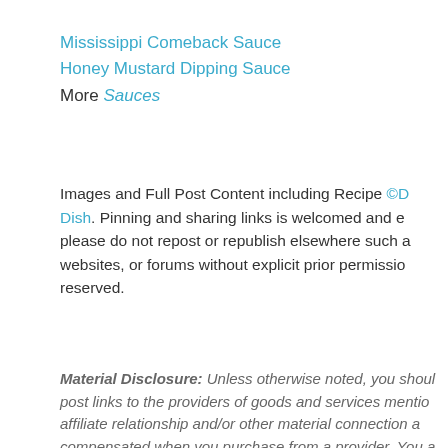Mississippi Comeback Sauce
Honey Mustard Dipping Sauce
More Sauces
Images and Full Post Content including Recipe ©Dishes. Pinning and sharing links is welcomed and encouraged, please do not repost or republish elsewhere such as other websites, or forums without explicit prior permission. All rights reserved.
Material Disclosure: Unless otherwise noted, you should assume that post links to the providers of goods and services mentioned, established affiliate relationship and/or other material connection and that I may be compensated when you purchase from a provider. You are never under any obligation to purchase anything when using my recipes and you should always perform due diligence before buying goods or services from anyone via the Internet or offline.